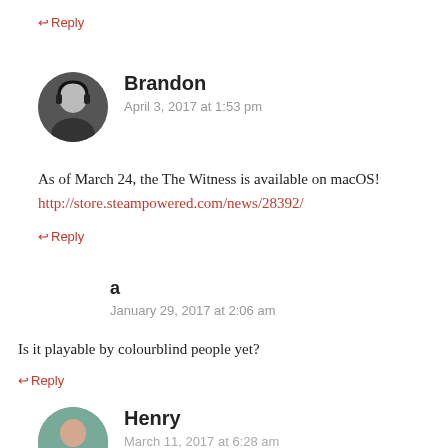← Reply
Brandon
April 3, 2017 at 1:53 pm
As of March 24, the The Witness is available on macOS!
http://store.steampowered.com/news/28392/
← Reply
a
January 29, 2017 at 2:06 am
Is it playable by colourblind people yet?
← Reply
Henry
March 11, 2017 at 6:28 am